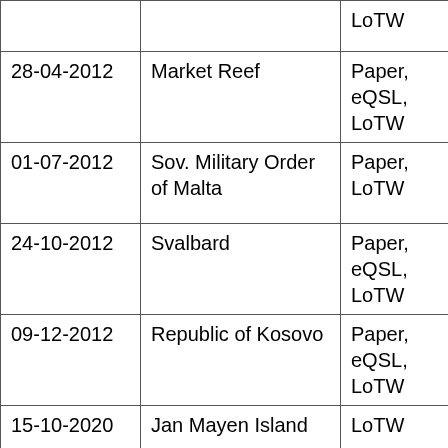| Date | Location | QSL Method |
| --- | --- | --- |
|  |  | LoTW |
| 28-04-2012 | Market Reef | Paper, eQSL, LoTW |
| 01-07-2012 | Sov. Military Order of Malta | Paper, LoTW |
| 24-10-2012 | Svalbard | Paper, eQSL, LoTW |
| 09-12-2012 | Republic of Kosovo | Paper, eQSL, LoTW |
| 15-10-2020 | Jan Mayen Island | LoTW |
|  |  |  |
| ASIA |  |  |
|  |  |  |
| 23-09-1973 | Asiatic Russia | Paper, eQSL, LoTW |
| 25-04-1974 | Kazakhstan | Paper, eQSL... |